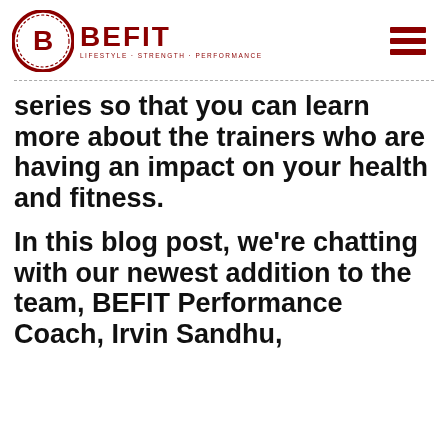[Figure (logo): BEFIT logo with circular emblem containing letter B, red circle border, and text BEFIT with tagline LIFESTYLE · STRENGTH · PERFORMANCE]
series so that you can learn more about the trainers who are having an impact on your health and fitness.
In this blog post, we're chatting with our newest addition to the team, BEFIT Performance Coach, Irvin Sandhu,